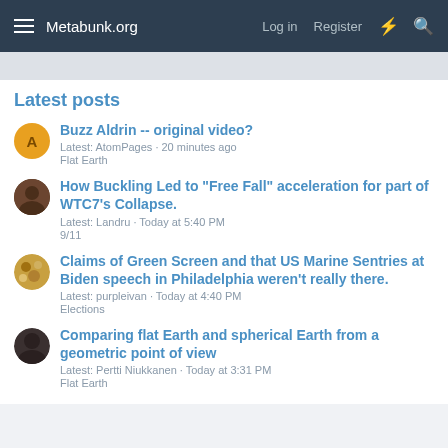Metabunk.org   Log in   Register
Latest posts
Buzz Aldrin -- original video?
Latest: AtomPages · 20 minutes ago
Flat Earth
How Buckling Led to "Free Fall" acceleration for part of WTC7's Collapse.
Latest: Landru · Today at 5:40 PM
9/11
Claims of Green Screen and that US Marine Sentries at Biden speech in Philadelphia weren't really there.
Latest: purpleivan · Today at 4:40 PM
Elections
Comparing flat Earth and spherical Earth from a geometric point of view
Latest: Pertti Niukkanen · Today at 3:31 PM
Flat Earth